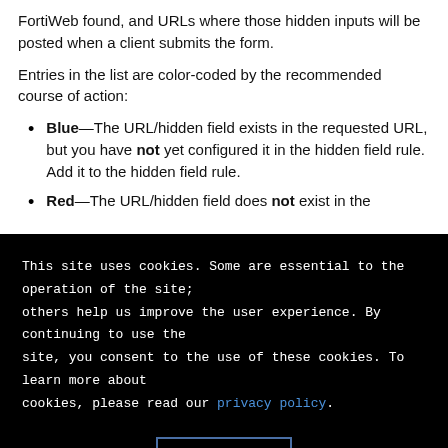FortiWeb found, and URLs where those hidden inputs will be posted when a client submits the form.
Entries in the list are color-coded by the recommended course of action:
Blue—The URL/hidden field exists in the requested URL, but you have not yet configured it in the hidden field rule. Add it to the hidden field rule.
Red—The URL/hidden field does not exist in the
This site uses cookies. Some are essential to the operation of the site; others help us improve the user experience. By continuing to use the site, you consent to the use of these cookies. To learn more about cookies, please read our privacy policy.
Accept